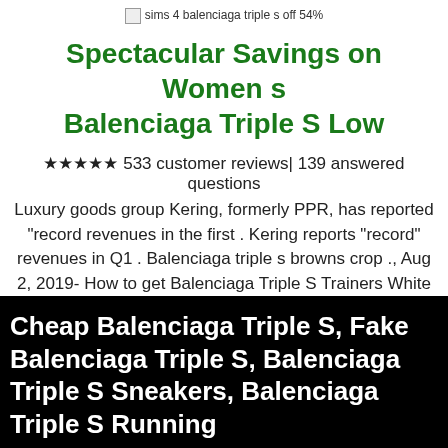[Figure (other): Broken image placeholder with alt text: sims 4 balenciaga triple s off 54%]
Spectacular Savings on Women s Balenciaga Triple S Low
★★★★★ 533 customer reviews| 139 answered questions
Luxury goods group Kering, formerly PPR, has reported "record revenues in the first . Kering reports "record" revenues in Q1 . Balenciaga triple s browns crop ., Aug 2, 2019- How to get Balenciaga Triple S Trainers White / Black / Neon #sneakers #fashion #shoes #sport #men #woman #style #balenciaga #TripleS ..
Balenciaga Triple S Eu 47 Sz 14 Black White Red distressed trainer
Cheap Balenciaga Triple S, Fake Balenciaga Triple S, Balenciaga Triple S Sneakers, Balenciaga Triple S Running